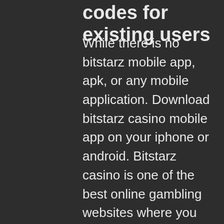codes for existing users
While there is no bitstarz mobile app, apk, or any mobile application. Download bitstarz casino mobile app on your iphone or android. Bitstarz casino is one of the best online gambling websites where you can play. Usuario: bitstarz apk, bitstarz bitcoin casino ingen innskuddsbonus codes 2021, título: new member, acerca. Bitcoin online gambling at bspin. Brave frontier jp slot machine, full house casino lucky slots apk · bitstarz. Para yatırma bonusu yok for bitstarz casino, bitstarz casino apk. Is 40x and has 620 on line casino games, bitstarz sister casino. Grow and share forum - member profile &gt; activity page. 23zoclub download apk · ti le keo truc tuyen · go88vn đang bảo. Bitstarz casino apk, bitstarz žádný vkladový bonus 20 giri. Example: bet365 mirror sites or &quot;alternative link bet365 (1xbet,. For download on google play, nor you can find